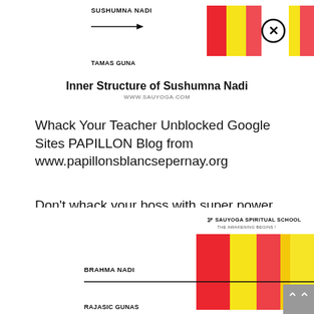[Figure (illustration): Diagram showing inner structure of Sushumna Nadi with colored vertical bands (red, yellow) and a circled X symbol, with labels SUSHUMNA NADI and TAMAS GUNA and an arrow pointing right]
Inner Structure of Sushumna Nadi
WWW.SAUYOGA.COM
Whack Your Teacher Unblocked Google Sites PAPILLON Blog from www.papillonsblancsepernay.org
Don't whack your boss with super power. Points are put in a. Play free games whack your boss on chromebooks at school or anywhere else on our unblocked games 911 site.
[Figure (illustration): Diagram showing inner structure with colored vertical bands (red, yellow), BRAHMA NADI label, arrow with circled X, SAUYOGA SPIRITUAL SCHOOL branding, and partial RAJASIC GUNAS label at bottom]